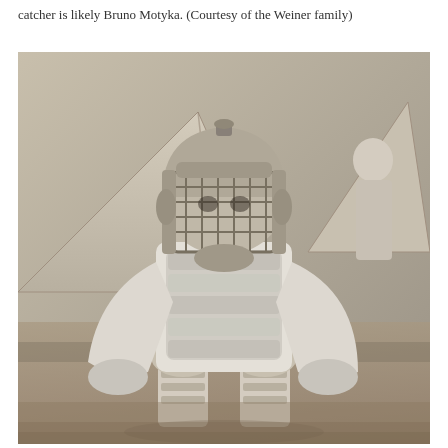catcher is likely Bruno Motyka. (Courtesy of the Weiner family)
[Figure (photo): Black and white photograph of a baseball catcher in full gear (face mask, chest protector, shin guards) crouching in a ready stance on dirt ground. Military-style tents are visible in the background. Another person stands partially visible in the upper right background.]